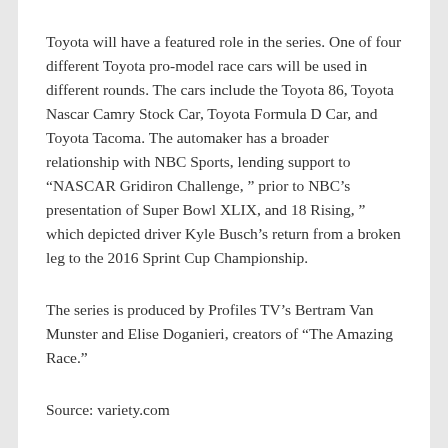Toyota will have a featured role in the series. One of four different Toyota pro-model race cars will be used in different rounds. The cars include the Toyota 86, Toyota Nascar Camry Stock Car, Toyota Formula D Car, and Toyota Tacoma. The automaker has a broader relationship with NBC Sports, lending support to “NASCAR Gridiron Challenge, ” prior to NBC’s presentation of Super Bowl XLIX, and 18 Rising, ” which depicted driver Kyle Busch’s return from a broken leg to the 2016 Sprint Cup Championship.
The series is produced by Profiles TV’s Bertram Van Munster and Elise Doganieri, creators of “The Amazing Race.”
Source: variety.com